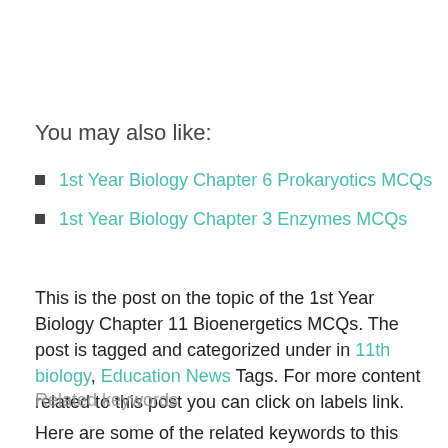You may also like:
1st Year Biology Chapter 6 Prokaryotics MCQs
1st Year Biology Chapter 3 Enzymes MCQs
This is the post on the topic of the 1st Year Biology Chapter 11 Bioenergetics MCQs. The post is tagged and categorized under in 11th biology, Education News Tags. For more content related to this post you can click on labels link.
Related keywords
Here are some of the related keywords to this post: 1st, Chapter, Bioenergetics, undefined, Biology, 11,